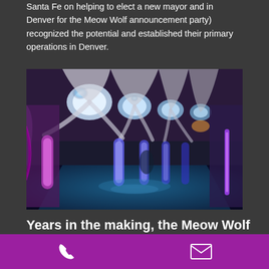Santa Fe on helping to elect a new mayor and in Denver for the Meow Wolf announcement party) recognized the potential and established their primary operations in Denver.
[Figure (photo): Interior of a Meow Wolf immersive art installation showing a large futuristic hall with glowing blue and purple circular ceiling lights, luminous pillars, and surreal architectural elements under blacklight-style illumination.]
Years in the making, the Meow Wolf Effect is still unfolding
Phone icon and Email icon